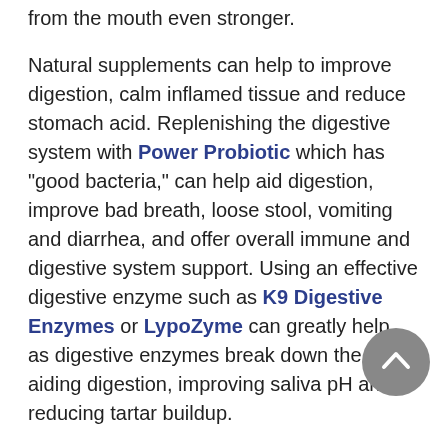from the mouth even stronger.
Natural supplements can help to improve digestion, calm inflamed tissue and reduce stomach acid. Replenishing the digestive system with Power Probiotic which has "good bacteria," can help aid digestion, improve bad breath, loose stool, vomiting and diarrhea, and offer overall immune and digestive system support. Using an effective digestive enzyme such as K9 Digestive Enzymes or LypoZyme can greatly help, as digestive enzymes break down the food, aiding digestion, improving saliva pH and reducing tartar buildup.
Metabolic Conditions - Diabetes, kidney disease and liver problems are serious metabolic disorders that can cause bad breath